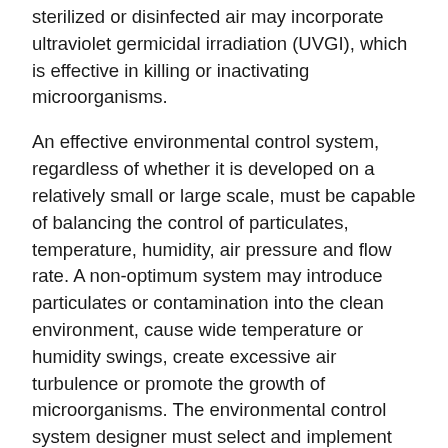sterilized or disinfected air may incorporate ultraviolet germicidal irradiation (UVGI), which is effective in killing or inactivating microorganisms.
An effective environmental control system, regardless of whether it is developed on a relatively small or large scale, must be capable of balancing the control of particulates, temperature, humidity, air pressure and flow rate. A non-optimum system may introduce particulates or contamination into the clean environment, cause wide temperature or humidity swings, create excessive air turbulence or promote the growth of microorganisms. The environmental control system designer must select and implement an optimum set of components to achieve the desired results.
CONSIDERATIONS IN